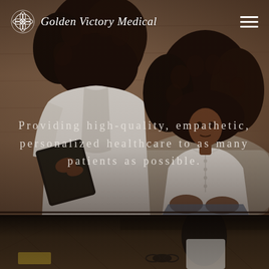[Figure (photo): Medical consultation scene: two women with natural curly hair in a healthcare setting. One woman (doctor/therapist) in white coat facing away from camera holding a clipboard, the other (patient) in white blouse sitting on a couch across from her. Warm wood-paneled background. Two-panel composition with a lower strip showing a second consultation scene on a wood-floor setting.]
Golden Victory Medical
Providing high-quality, empathetic, personalized healthcare to as many patients as possible.